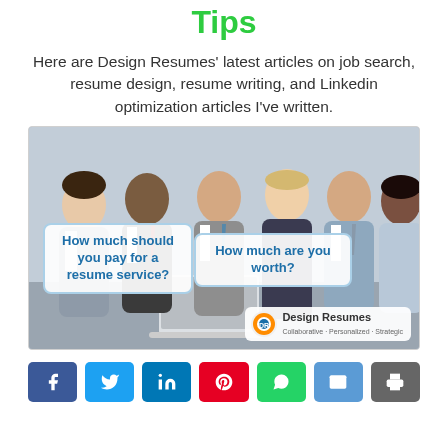Tips
Here are Design Resumes' latest articles on job search, resume design, resume writing, and Linkedin optimization articles I've written.
[Figure (photo): Group photo of five business professionals in suits with two speech bubble overlays reading 'How much should you pay for a resume service?' and 'How much are you worth?' with Design Resumes logo in bottom right corner.]
Share buttons: Facebook, Twitter, LinkedIn, Pinterest, WhatsApp, Email, Print